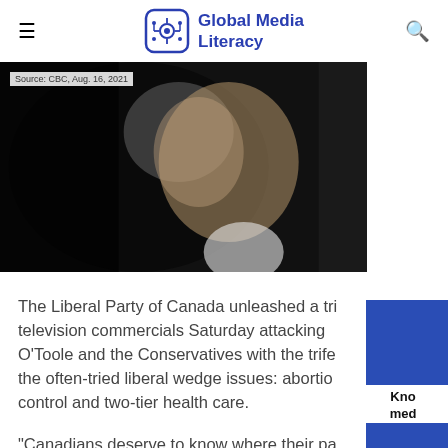Global Media Literacy
[Figure (photo): Dark silhouette/profile photo of a man in a suit, partially lit, dark background. Caption: Source: CBC, Aug. 16, 2021]
Source: CBC, Aug. 16, 2021
The Liberal Party of Canada unleashed a tri television commercials Saturday attacking O'Toole and the Conservatives with the trife the often-tried liberal wedge issues: abortio control and two-tier health care.
“Canadians deserve to know where their pa leaders stand,” the party said in a press rele